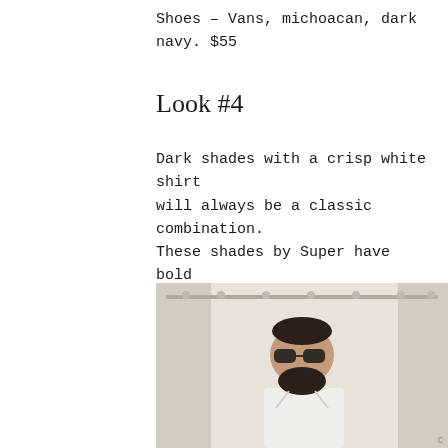Shoes – Vans, michoacan, dark navy. $55
Look #4
Dark shades with a crisp white shirt will always be a classic combination. These shades by Super have bold upper corners without looking too feminine. The white oxford is so classic that it could be worn in a variety of situations.
[Figure (photo): A man with a short beard wearing dark sunglasses and a white shirt, standing in front of white curtains]